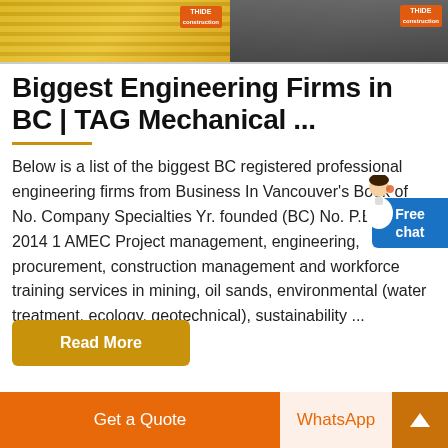[Figure (photo): Two side-by-side banner images: left shows yellow/gold industrial pallets with a THIDE logo badge, right shows a dark workspace/meeting room scene with a THIDE logo badge.]
Biggest Engineering Firms in BC | TAG Mechanical ...
Below is a list of the biggest BC registered professional engineering firms from Business In Vancouver's Book of No. Company Specialties Yr. founded (BC) No. P.Eng (BC 2014 1 AMEC Project management, engineering, procurement, construction management and workforce training services in mining, oil sands, environmental (water treatment, ecology, geotechnical), sustainability ...
Read More
Get a Quote
WhatsApp